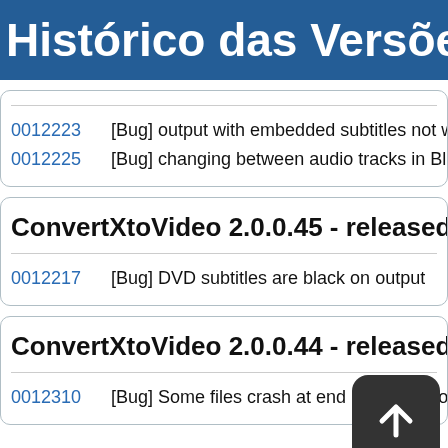Histórico das Versões: Con
0012223   [Bug] output with embedded subtitles not working when converting
0012225   [Bug] changing between audio tracks in Blu-ray files in advanced e
ConvertXtoVideo 2.0.0.45 - released Tue m
0012217   [Bug] DVD subtitles are black on output
ConvertXtoVideo 2.0.0.44 - released Fri October
0012310   [Bug] Some files crash at end of conversion (when raw copy is us